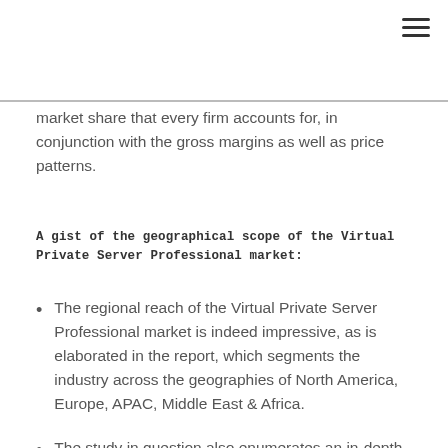☰
market share that every firm accounts for, in conjunction with the gross margins as well as price patterns.
A gist of the geographical scope of the Virtual Private Server Professional market:
The regional reach of the Virtual Private Server Professional market is indeed impressive, as is elaborated in the report, which segments the industry across the geographies of North America, Europe, APAC, Middle East & Africa.
The study in question also enumerates an in-depth overview of the regional scope with respect to the growth rate that each topography will record over the forecast duration.